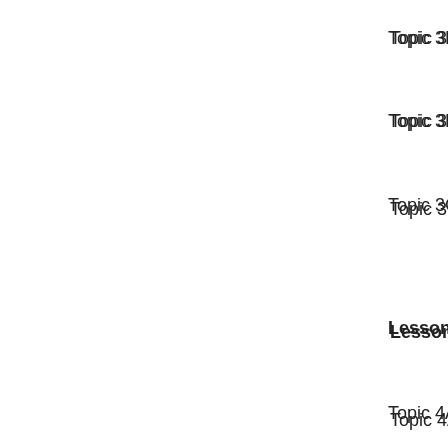Topic 3E: Modifying…
Topic 3F: Exporting…
Topic 3G: Printing…
Lesson 4: Creati…
Topic 4A: Creatin…
Topic 4B: Using C…
Topic 4C: Working…
Topic 4D: Custom…
Topic 4E: Printing…
Lesson 5: Track…
Topic 5A: Using S…
Topic 5B: Setting…